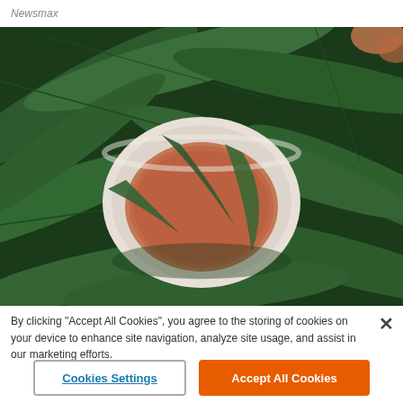Newsmax
[Figure (photo): Overhead view of a white ceramic bowl filled with reddish-brown tea, surrounded by green leaves]
By clicking "Accept All Cookies", you agree to the storing of cookies on your device to enhance site navigation, analyze site usage, and assist in our marketing efforts.
Cookies Settings
Accept All Cookies